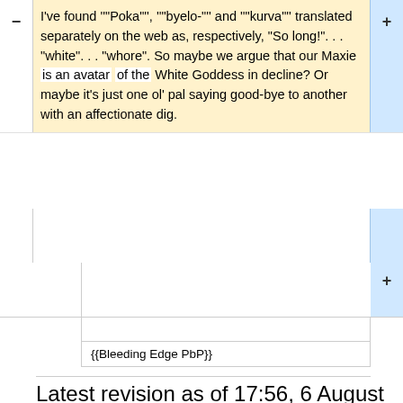I've found """Poka""", """byelo-""" and """kurva""" translated separately on the web as, respectively, "So long!". . . "white". . . "whore". So maybe we argue that our Maxie is an avatar of the White Goddess in decline? Or maybe it's just one ol' pal saying good-bye to another with an affectionate dig.
{{Bleeding Edge PbP}}
Latest revision as of 17:56, 6 August 2018
Please keep these annotations SPOILER-FREE by not